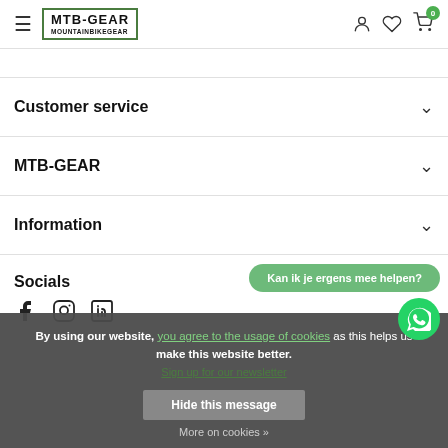MTB-GEAR MOUNTAINBIKEGEAR
Customer service
MTB-GEAR
Information
Socials
By using our website, you agree to the usage of cookies as this helps us make this website better. Sign up for our newsletter
Kan ik je ergens mee helpen?
Hide this message
More on cookies »